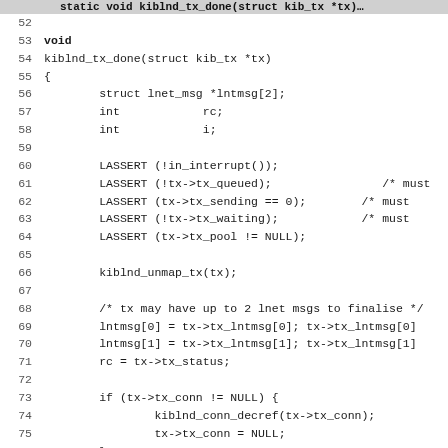[Figure (screenshot): Source code listing in monospace font showing C function kiblnd_tx_done, with line numbers 51-83. Code includes struct declarations, LASSERT calls, kiblnd_unmap_tx, lntmsg assignments, conditional block with kiblnd_conn_decref, tx field assignments, and kiblnd_pool_free_node call.]